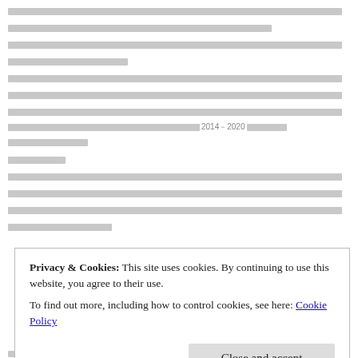[Redacted body text — multiple lines of redacted/censored content showing as grey blocks]
[Redacted text with quoted sections and reference to 2014—2020]
[Redacted continuation text]
[Redacted section header]
[Redacted body paragraphs]
Privacy & Cookies: This site uses cookies. By continuing to use this website, you agree to their use.
To find out more, including how to control cookies, see here: Cookie Policy
Close and accept